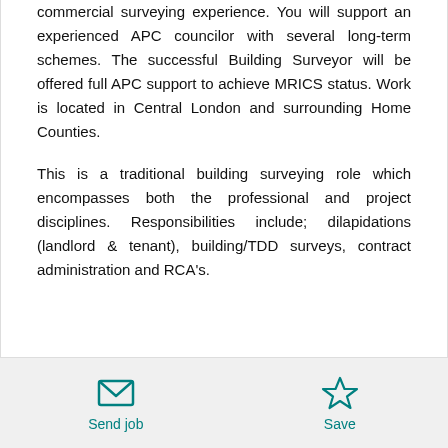commercial surveying experience. You will support an experienced APC councilor with several long-term schemes. The successful Building Surveyor will be offered full APC support to achieve MRICS status. Work is located in Central London and surrounding Home Counties.
This is a traditional building surveying role which encompasses both the professional and project disciplines. Responsibilities include; dilapidations (landlord & tenant), building/TDD surveys, contract administration and RCA's.
Send job
Save